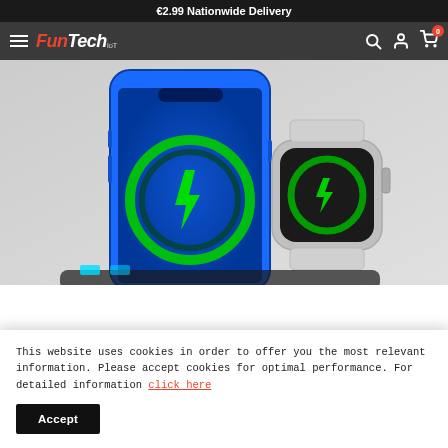€2.99 Nationwide Delivery
[Figure (logo): FunTech IoT logo with hamburger menu, search icon, account icon, and cart icon showing 0 items]
[Figure (photo): Wireless charging station showing a blue iPhone 12 and Apple Watch being charged wirelessly with green lightning bolt icons on their screens]
This website uses cookies in order to offer you the most relevant information. Please accept cookies for optimal performance. For detailed information click here
Accept